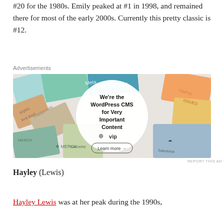#20 for the 1980s. Emily peaked at #1 in 1998, and remained there for most of the early 2000s. Currently this pretty classic is #12.
Advertisements
[Figure (photo): WordPress VIP advertisement showing various branded cards/tiles with a circular overlay text reading 'We're the WordPress CMS for Very Important Content' with a WordPress logo and 'Learn more' button.]
REPORT THIS AD
Hayley (Lewis)
Hayley Lewis was at her peak during the 1990s,